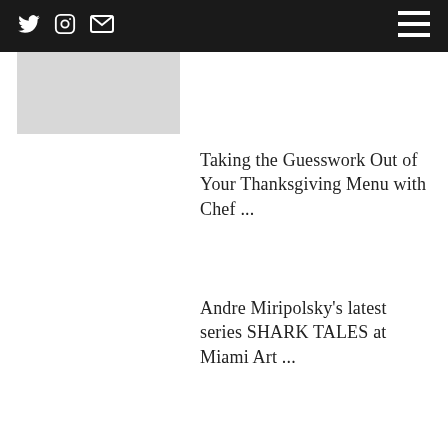Navigation bar with Twitter, Instagram, Email icons and hamburger menu
[Figure (photo): Gray image placeholder thumbnail]
Taking the Guesswork Out of Your Thanksgiving Menu with Chef ...
Andre Miripolsky's latest series SHARK TALES at Miami Art ...